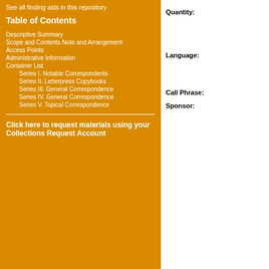See all finding aids in this repository
Table of Contents
Descriptive Summary
Scope and Contents Note and Arrangement
Access Points
Administrative Information
Container List
Series I. Notable Correspondents
Series II. Letterpress Copybooks
Series III. General Correspondence
Series IV. General Correspondence
Series V. Topical Correspondence
Click here to request materials using your Collections Request Account
Quantity:
Language:
Call Phrase:
Sponsor: